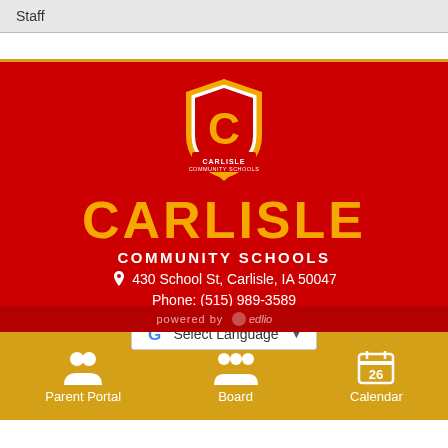Staff
[Figure (logo): Carlisle Community Schools shield logo — gold shield with red C and school name]
CARLISLE
COMMUNITY SCHOOLS
430 School St, Carlisle, IA 50047
Phone: (515) 989-3589
Select Language
powered by edlio
Parent Portal
Board
Calendar